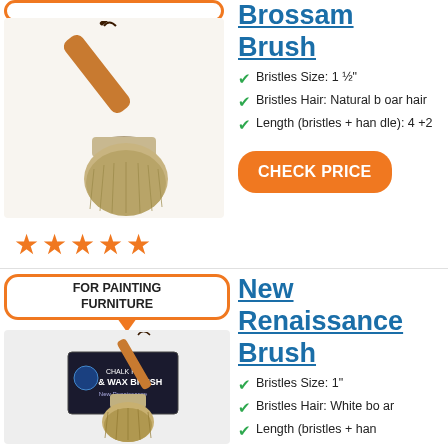[Figure (photo): Round chalk paint wax brush with wooden handle and metal ferrule]
Bristles Size: 1 ½"
Bristles Hair: Natural boar hair
Length (bristles + handle): 4 +2
[Figure (other): Five orange star rating]
CHECK PRICE
FOR PAINTING FURNITURE
New Renaissance Brush
[Figure (photo): New Renaissance chalk paint and wax brush with wooden handle, shown with product box]
Bristles Size: 1"
Bristles Hair: White boar
Length (bristles + han